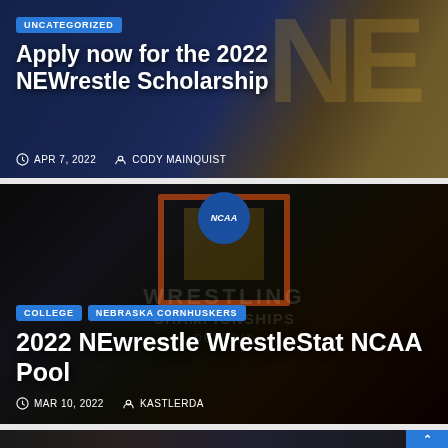[Figure (photo): Blog card with dark blue and gold background showing NE letters, with UNCATEGORIZED badge, title 'Apply now for the 2022 NEWrestle Scholarship', date APR 7, 2022, author CODY MAINQUIST]
Apply now for the 2022 NEWrestle Scholarship
UNCATEGORIZED
APR 7, 2022   CODY MAINQUIST
[Figure (photo): Blog card with dark background showing NCAA Wrestling Championships Detroit logo, with COLLEGE and NEBRASKA CORNHUSKERS badges, title '2022 NEwrestle WrestleStat NCAA Pool', date MAR 10, 2022, author KASTLERDA]
2022 NEwrestle WrestleStat NCAA Pool
COLLEGE   NEBRASKA CORNHUSKERS
MAR 10, 2022   KASTLERDA
[Figure (photo): Partial blog card showing crowd/people at what appears to be a sporting event, partially visible at bottom]